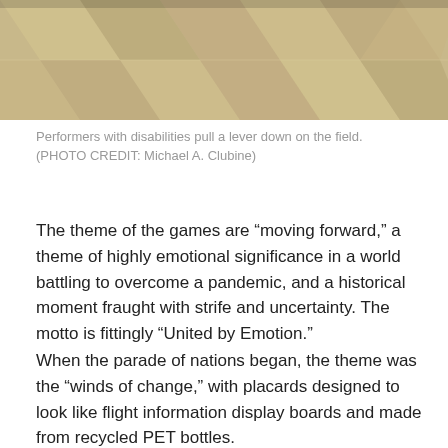[Figure (photo): Bottom portion of a photo showing a checkered floor/field, likely inside a stadium or arena.]
Performers with disabilities pull a lever down on the field. (PHOTO CREDIT: Michael A. Clubine)
The theme of the games are “moving forward,” a theme of highly emotional significance in a world battling to overcome a pandemic, and a historical moment fraught with strife and uncertainty. The motto is fittingly “United by Emotion.”
When the parade of nations began, the theme was the “winds of change,” with placards designed to look like flight information display boards and made from recycled PET bottles.